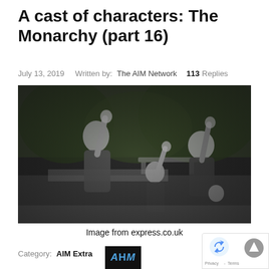A cast of characters: The Monarchy (part 16)
July 13, 2019   Written by: The AIM Network   113 Replies
[Figure (photo): Black and white photograph of several people appearing to give a Nazi salute outdoors, with trees and a bench in the background.]
Image from express.co.uk
Category: AIM Extra
[Figure (logo): AIM Network logo — dark background with blue italic 'AHM' lettering]
[Figure (other): reCAPTCHA widget overlay in bottom right corner]